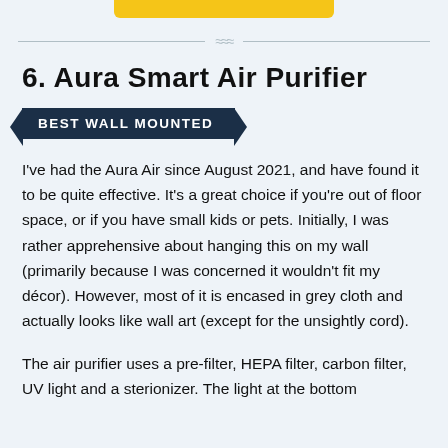6. Aura Smart Air Purifier
BEST WALL MOUNTED
I've had the Aura Air since August 2021, and have found it to be quite effective. It's a great choice if you're out of floor space, or if you have small kids or pets. Initially, I was rather apprehensive about hanging this on my wall (primarily because I was concerned it wouldn't fit my décor). However, most of it is encased in grey cloth and actually looks like wall art (except for the unsightly cord).
The air purifier uses a pre-filter, HEPA filter, carbon filter, UV light and a sterionizer. The light at the bottom of…